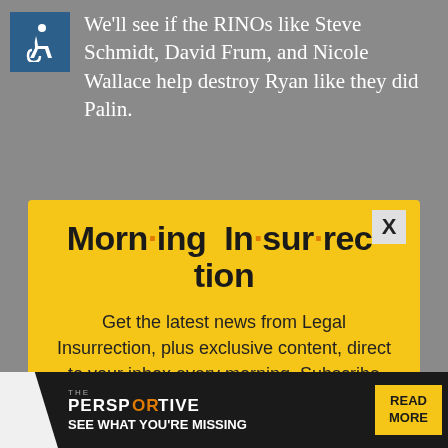We'll see if the RINOs like Steve Schmidt, David Frum, and Nicole Wallace help destroy Ryan like they did Palin.
[Figure (screenshot): Yellow modal popup for Morning Insurrection newsletter subscription with 'JOIN NOW' button]
stupid or ill prepared and expect to stick. It did with Palin because
[Figure (screenshot): The Perspective ad banner at bottom: 'SEE WHAT YOU'RE MISSING' with READ MORE button]